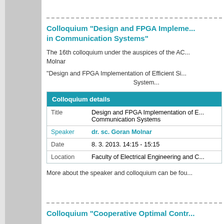Colloquium "Design and FPGA Implementation ... in Communication Systems"
The 16th colloquium under the auspices of the AC... Molnar
"Design and FPGA Implementation of Efficient Si... System...
|  |  |
| --- | --- |
| Colloquium details |  |
| Title | Design and FPGA Implementation of E... Communication Systems |
| Speaker | dr. sc. Goran Molnar |
| Date | 8. 3. 2013. 14:15 - 15:15 |
| Location | Faculty of Electrical Engineering and C... |
More about the speaker and colloquium can be fou...
Colloquium "Cooperative Optimal Contr..."
The eleventh colloquium under the auspices of the... Spudić.
|  |  |
| --- | --- |
| Colloquium details |  |